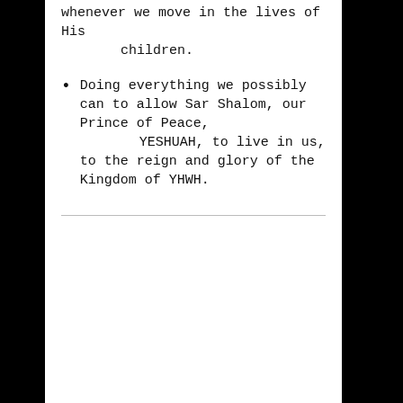whenever we move in the lives of His children.
Doing everything we possibly can to allow Sar Shalom, our Prince of Peace, YESHUAH, to live in us, to the reign and glory of the Kingdom of YHWH.